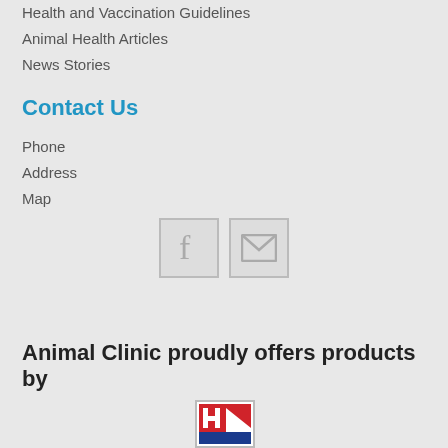Health and Vaccination Guidelines
Animal Health Articles
News Stories
Contact Us
Phone
Address
Map
[Figure (illustration): Facebook icon button and email/envelope icon button]
Animal Clinic proudly offers products by
[Figure (logo): Hill's Pet Nutrition logo (red, white, blue)]